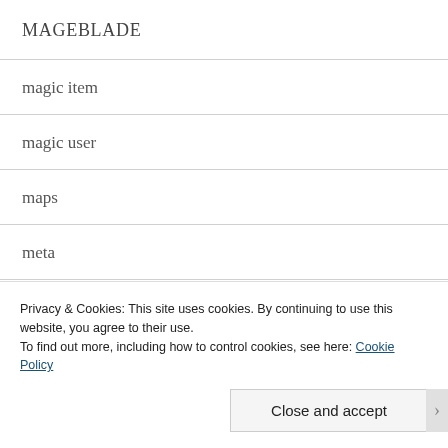MAGEBLADE
magic item
magic user
maps
meta
monster
navel gazing
Privacy & Cookies: This site uses cookies. By continuing to use this website, you agree to their use. To find out more, including how to control cookies, see here: Cookie Policy